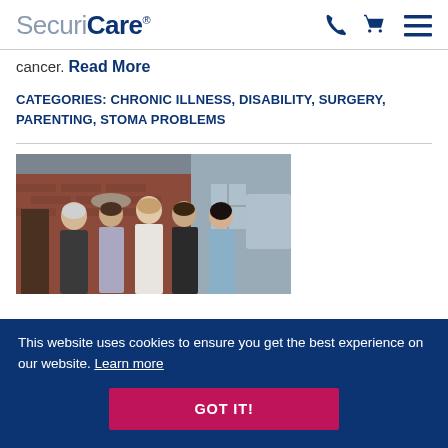SecuriCare
cancer. Read More
CATEGORIES: CHRONIC ILLNESS, DISABILITY, SURGERY, PARENTING, STOMA PROBLEMS
[Figure (photo): Group photo of five adults (two men, three women) standing together outdoors in front of a brick building, dressed in smart/formal attire. Appears to be a family or event photo.]
This website uses cookies to ensure you get the best experience on our website. Learn more
GOT IT!